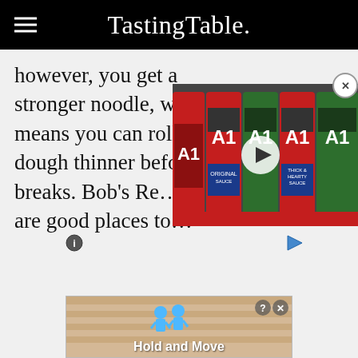TastingTable.
however, you get a stronger noodle, which means you can roll the dough thinner before it breaks. Bob's Re... Arthur are good places to...
[Figure (screenshot): Video overlay showing A1 sauce bottles with play button]
[Figure (screenshot): Bottom advertisement showing 'Hold and Move' with cartoon figures]